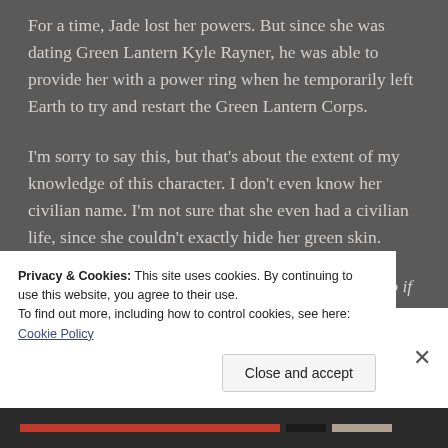For a time, Jade lost her powers. But since she was dating Green Lantern Kyle Rayner, he was able to provide her with a power ring when he temporarily left Earth to try and restart the Green Lantern Corps.
I'm sorry to say this, but that's about the extent of my knowledge of this character. I don't even know her civilian name. I'm not sure that she even had a civilian life, since she couldn't exactly hide her green skin.
Have you heard of Jade? I know I've left a lot out, so if you have more info, please share it in the comments below!
Privacy & Cookies: This site uses cookies. By continuing to use this website, you agree to their use.
To find out more, including how to control cookies, see here: Cookie Policy
Close and accept